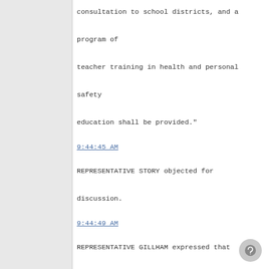consultation to school districts, and a program of teacher training in health and personal safety education shall be provided."
9:44:45 AM
REPRESENTATIVE STORY objected for discussion.
9:44:49 AM
REPRESENTATIVE GILLHAM expressed that Amendment 9 "is in line with being inclusive of respected individuals in our communities for the general well-being of our